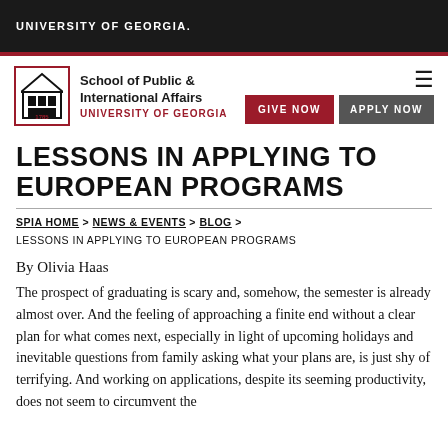UNIVERSITY OF GEORGIA
[Figure (logo): School of Public & International Affairs, University of Georgia logo with building icon]
LESSONS IN APPLYING TO EUROPEAN PROGRAMS
SPIA HOME > NEWS & EVENTS > BLOG > LESSONS IN APPLYING TO EUROPEAN PROGRAMS
By Olivia Haas
The prospect of graduating is scary and, somehow, the semester is already almost over. And the feeling of approaching a finite end without a clear plan for what comes next, especially in light of upcoming holidays and inevitable questions from family asking what your plans are, is just shy of terrifying. And working on applications, despite its seeming productivity, does not seem to circumvent the